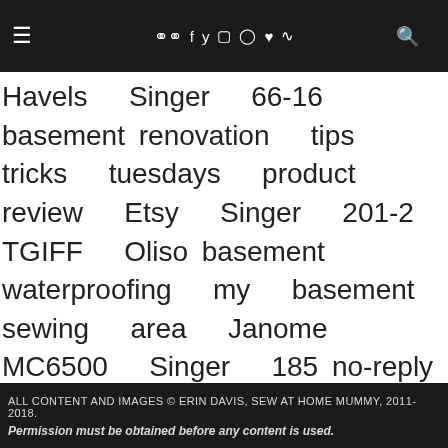Navigation bar with hamburger menu, social icons (chat, facebook, twitter, instagram, pinterest, heart, rss), and search icon
Havels Singer 66-16 basement renovation tips tricks tuesdays product review Etsy Singer 201-2 TGIFF Oliso basement waterproofing my basement sewing area Janome MC6500 Singer 185 no-reply blogger Reinventing the Wheel fat quarter storage gift ideas honest craft room kitchen reno thread ikea hack lighting quiltcon reject
ALL CONTENT AND IMAGES © ERIN DAVIS, SEW AT HOME MUMMY, 2011-2018. Permission must be obtained before any content is used.